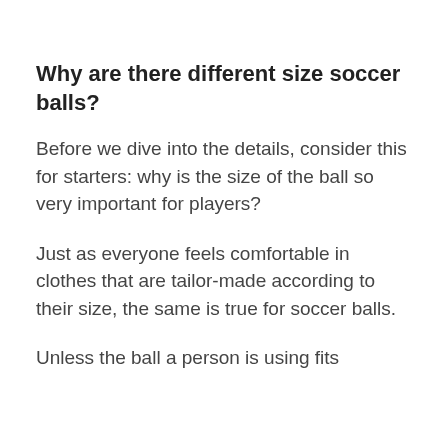Why are there different size soccer balls?
Before we dive into the details, consider this for starters: why is the size of the ball so very important for players?
Just as everyone feels comfortable in clothes that are tailor-made according to their size, the same is true for soccer balls.
Unless the ball a person is using fits